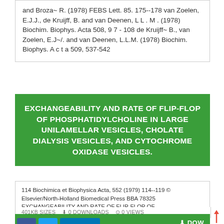and Broza~ R. (1978) FEBS Lett. 85. 175--178 van Zoelen, E.J.J., de Kruijff, B. and van Deenen, L L . M . (1978) Biochim. Biophys. Acta 508, 9 7 - 108 de Kruijff~ B., van Zoelen, E.J~/. and van Deenen, L.L.M. (1978) Biochim. Biophys. A c t a 509, 537-542
EXCHANGEABILITY AND RATE OF FLIP-FLOP OF PHOSPHATIDYLCHOLINE IN LARGE UNILAMELLAR VESICLES, CHOLATE DIALYSIS VESICLES, AND CYTOCHROME OXIDASE VESICLES.
114 Biochimica et Biophysica Acta, 552 (1979) 114--119 © Elsevier/North-Holland Biomedical Press BBA 78325 EXCHANGEABILITY AND RATE OF FLIP-FLOP OF...